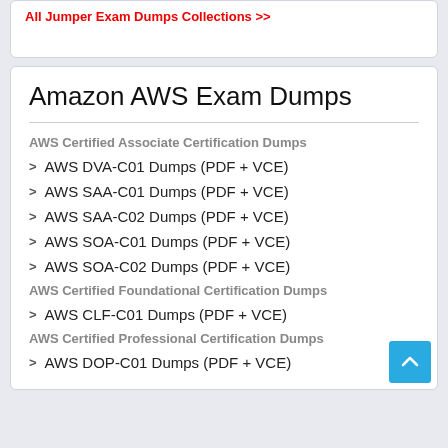All Jumper Exam Dumps Collections >>
Amazon AWS Exam Dumps
AWS Certified Associate Certification Dumps
AWS DVA-C01 Dumps (PDF + VCE)
AWS SAA-C01 Dumps (PDF + VCE)
AWS SAA-C02 Dumps (PDF + VCE)
AWS SOA-C01 Dumps (PDF + VCE)
AWS SOA-C02 Dumps (PDF + VCE)
AWS Certified Foundational Certification Dumps
AWS CLF-C01 Dumps (PDF + VCE)
AWS Certified Professional Certification Dumps
AWS DOP-C01 Dumps (PDF + VCE)